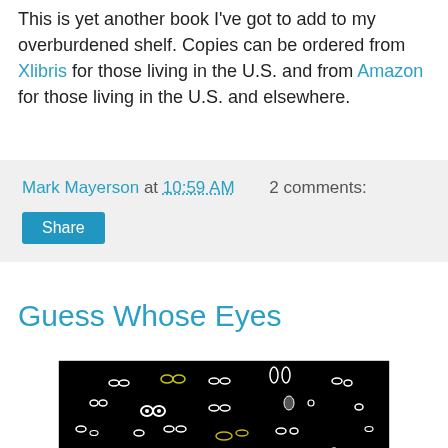This is yet another book I've got to add to my overburdened shelf. Copies can be ordered from Xlibris for those living in the U.S. and from Amazon for those living in the U.S. and elsewhere.
Mark Mayerson at 10:59 AM   2 comments:   [Share button]
Guess Whose Eyes
[Figure (photo): Black background image showing many pairs of cartoon/animated eyes scattered across the frame — a quiz-style image titled 'Guess Whose Eyes'.]